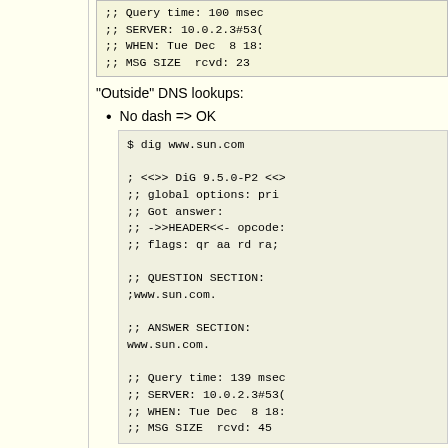;; Query time: 100 msec
;; SERVER: 10.0.2.3#53(
;; WHEN: Tue Dec  8 18:
;; MSG SIZE  rcvd: 23
"Outside" DNS lookups:
No dash => OK
$ dig www.sun.com

; <<>> DiG 9.5.0-P2 <<>>
;; global options: pri
;; Got answer:
;; ->>HEADER<<- opcode:
;; flags: qr aa rd ra;

;; QUESTION SECTION:
;www.sun.com.

;; ANSWER SECTION:
www.sun.com.

;; Query time: 139 msec
;; SERVER: 10.0.2.3#53(
;; WHEN: Tue Dec  8 18:
;; MSG SIZE  rcvd: 45
With dash => NOK; name actually should resolve and does